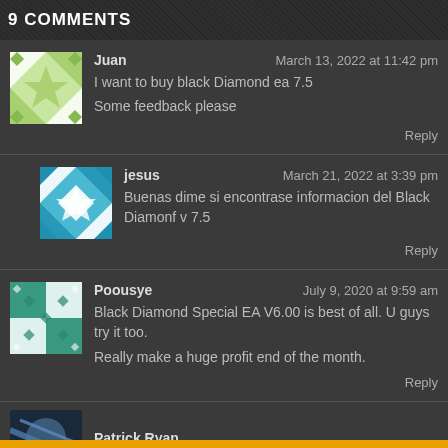9 COMMENTS
Juan
March 13, 2022 at 11:42 pm
I want to buy black Diamond ea 7.5
Some feedback please
Reply
jesus
March 21, 2022 at 3:39 pm
Buenas dime si encontrase informacion del Black Diamonf v 7.5
Reply
Poousye
July 9, 2020 at 9:59 am
Black Diamond Special EA V6.00 is best of all. U guys try it too.
Really make a huge profit end of the month.
Reply
Patrick Ryan
July 10, 2020 at 7:00 am